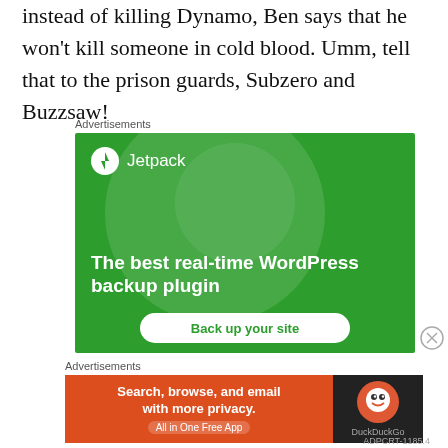instead of killing Dynamo, Ben says that he won't kill someone in cold blood. Umm, tell that to the prison guards, Subzero and Buzzsaw!
Advertisements
[Figure (illustration): Jetpack advertisement banner: green background with large translucent circle, Jetpack logo and brand name at top left, tagline 'The best real-time WordPress backup plugin' in white bold text, and a white 'Back up your site' button at the bottom.]
Advertisements
[Figure (illustration): DuckDuckGo advertisement banner: orange-red left section with text 'Search, browse, and email with more privacy. All in One Free App', dark right section with DuckDuckGo logo and name.]